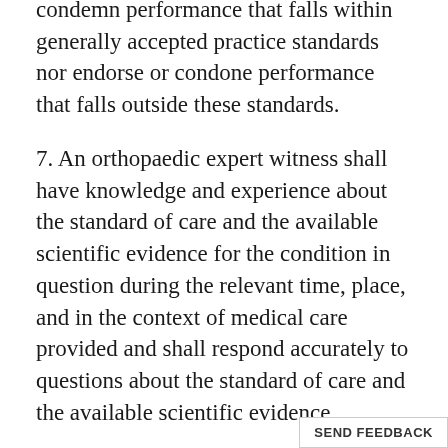condemn performance that falls within generally accepted practice standards nor endorse or condone performance that falls outside these standards.
7. An orthopaedic expert witness shall have knowledge and experience about the standard of care and the available scientific evidence for the condition in question during the relevant time, place, and in the context of medical care provided and shall respond accurately to questions about the standard of care and the available scientific evidence.
8. An orthopaedic expert witness shall provide evidence or testify only in matters in which he or she has relevant clinical experience and knowledge in the areas of medicine